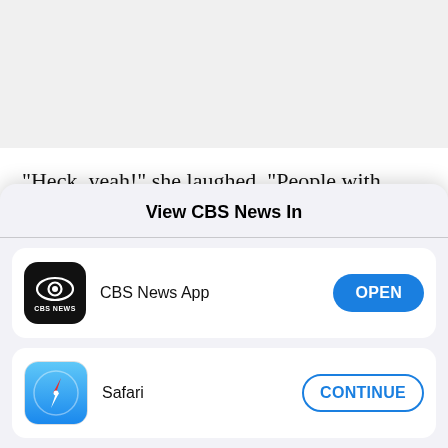"Heck, yeah!" she laughed. "People with disabilities are a strength and a force of nature in this company, myself included."
Lay-Flurrie, who is profoundly deaf, communicates
[Figure (screenshot): iOS app picker sheet titled 'View CBS News In' with two options: CBS News App (black icon with CBS eye logo) with an OPEN button, and Safari (compass icon) with a CONTINUE button.]